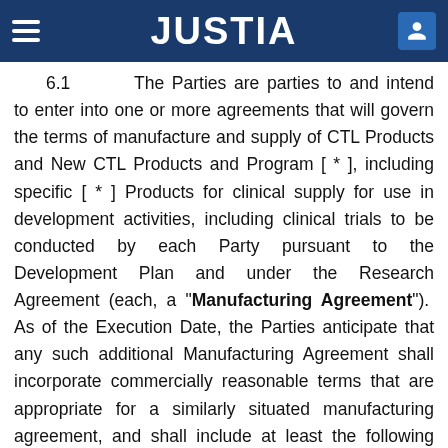JUSTIA
6.1  The Parties are parties to and intend to enter into one or more agreements that will govern the terms of manufacture and supply of CTL Products and New CTL Products and Program [ * ], including specific [ * ] Products for clinical supply for use in development activities, including clinical trials to be conducted by each Party pursuant to the Development Plan and under the Research Agreement (each, a "Manufacturing Agreement"). As of the Execution Date, the Parties anticipate that any such additional Manufacturing Agreement shall incorporate commercially reasonable terms that are appropriate for a similarly situated manufacturing agreement, and shall include at least the following principles, as set forth below in Sections 6.1(a) through (d), and other material terms such as pricing, as the Parties shall mutually